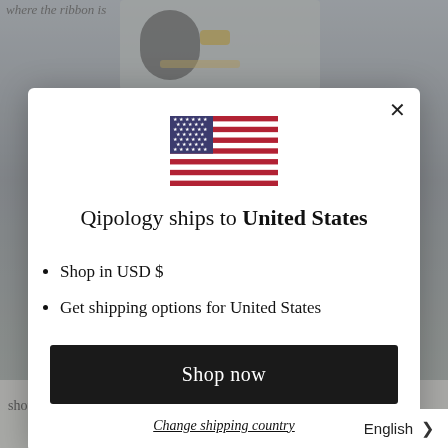[Figure (screenshot): Website popup modal for Qipology shipping country selection. Shows a US flag, title 'Qipology ships to United States', bullet points for shop currency and shipping options, a 'Shop now' button, and a 'Change shipping country' link. Background shows a photo of a person wearing jewelry with blurred text.]
Qipology ships to United States
Shop in USD $
Get shipping options for United States
Shop now
Change shipping country
English